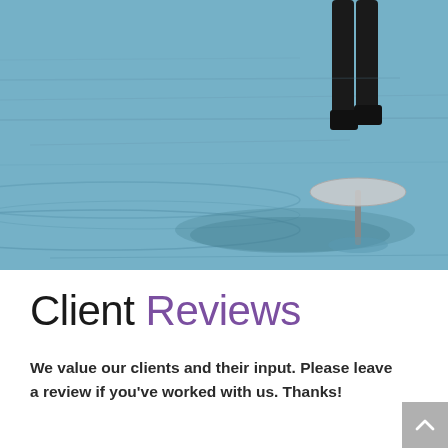[Figure (photo): Person standing on a hydrofoil surfboard above blue rippling water. The person is wearing a black wetsuit and boots, and the board is hovering above the water surface on a foil strut.]
Client Reviews
We value our clients and their input. Please leave a review if you've worked with us. Thanks!